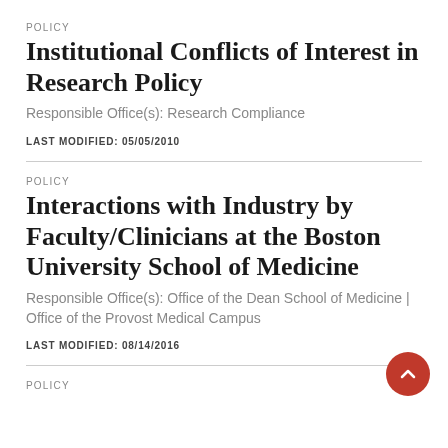POLICY
Institutional Conflicts of Interest in Research Policy
Responsible Office(s): Research Compliance
LAST MODIFIED: 05/05/2010
POLICY
Interactions with Industry by Faculty/Clinicians at the Boston University School of Medicine
Responsible Office(s): Office of the Dean School of Medicine | Office of the Provost Medical Campus
LAST MODIFIED: 08/14/2016
POLICY